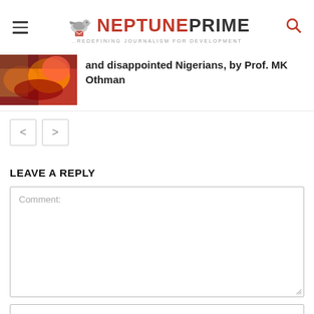NEPTUNE PRIME — Redefining Journalism for Development
and disappointed Nigerians, by Prof. MK Othman
< >
LEAVE A REPLY
Comment:
Name:*